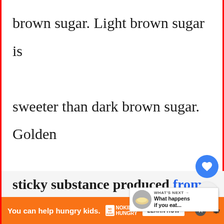brown sugar. Light brown sugar is sweeter than dark brown sugar. Golden syrup is a thick, syrupy mixture of corn syrup and molasses. It is sometimes called treacle. Molasses is a thick
[Figure (screenshot): UI overlay with heart (like) button (blue circle), share button (grey circle), and a 'What's Next' card showing a thumbnail and headline 'What happens if you eat...']
sticky substance produced from
[Figure (screenshot): Orange advertisement banner: 'You can help hungry kids. No Kid Hungry. LEARN HOW' with close button and WeatherBug icon]